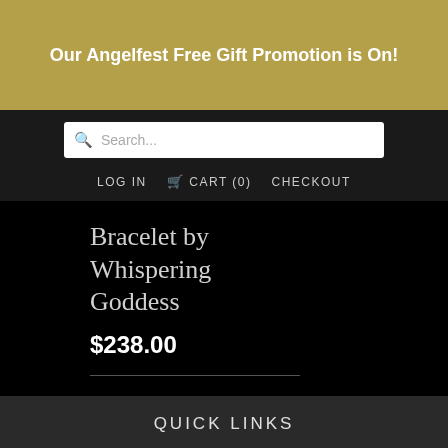Our Angelfest Free Gift Promotion is On!
Search...
LOG IN  CART (0)  CHECKOUT
Bracelet by Whispering Goddess
$238.00
QUICK LINKS
Contact Us
Join our Mailing List